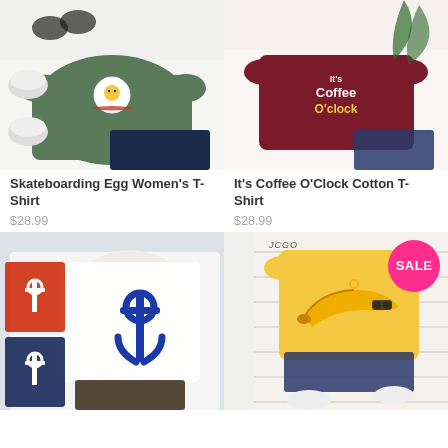[Figure (photo): Green t-shirt with skateboarding egg and bacon graphic, laid flat with jeans and sneakers]
Skateboarding Egg Women's T-Shirt
$28.99
[Figure (photo): Maroon/burgundy t-shirt with 'It's Coffee O'Clock' graphic, laid flat with jeans and palm leaf]
It's Coffee O'Clock Cotton T-Shirt
$28.99
[Figure (photo): White off-shoulder t-shirt with large blue anchor print, model wearing it, with two smaller inset images of red and navy versions]
[Figure (photo): Yellow t-shirt with sunglasses banana graphic, JCGO brand, laid flat with jeans and sneakers, SALE badge]
SALE